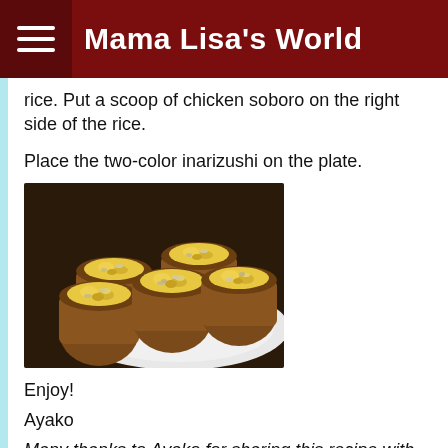Mama Lisa's World
rice. Put a scoop of chicken soboro on the right side of the rice.
Place the two-color inarizushi on the plate.
[Figure (photo): Plate of two-color inarizushi (Japanese stuffed tofu pockets) filled with scrambled egg and chicken soboro, arranged on a white plate]
Enjoy!
Ayako
Many thanks to Ayako for sharing this recipe with us!